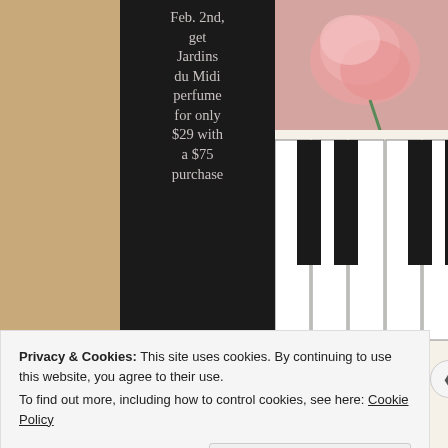[Figure (illustration): Advertisement panel with dark background. Left column shows promotional text: 'Feb. 2nd, get Jardins du Midi perfume for only $29 with a $75 purchase' with a pink corner bracket decoration. Right side shows a photo of piano keys with a pink rose and gold heart charm jewelry.]
So sweet and dainty, the Take M perfect for the all the love
Privacy & Cookies: This site uses cookies. By continuing to use this website, you agree to their use. To find out more, including how to control cookies, see here: Cookie Policy
Close and accept